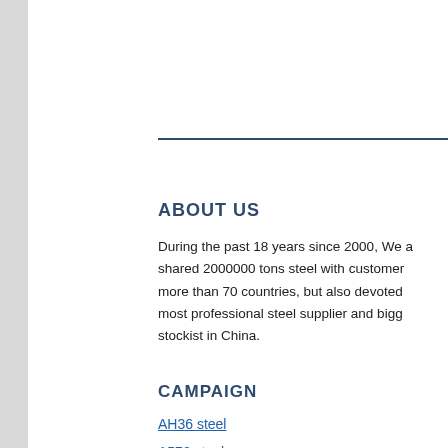[Figure (photo): Customer service representative with headset, 24/7 support panel with chat, phone, and Skype icons, and online live button overlay on right side]
ABOUT US
During the past 18 years since 2000, We a... shared 2000000 tons steel with customer... more than 70 countries, but also devoted... most professional steel supplier and bigg... stockist in China.
CAMPAIGN
AH36 steel
A572 steel